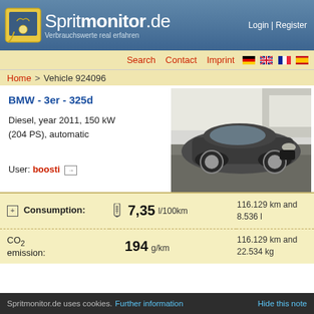Spritmonitor.de — Verbrauchswerte real erfahren | Login | Register
Search  Contact  Imprint
Home > Vehicle 924096
BMW - 3er - 325d
Diesel, year 2011, 150 kW (204 PS), automatic
User: boosti
[Figure (photo): Dark grey BMW 3-series (325d) parked on cobblestone, front three-quarter view]
|  |  |  |
| --- | --- | --- |
| + Consumption: | 7,35 l/100km | 116.129 km and 8.536 l |
| CO2 emission: | 194 g/km | 116.129 km and 22.534 kg |
Spritmonitor.de uses cookies. Further information   Hide this note